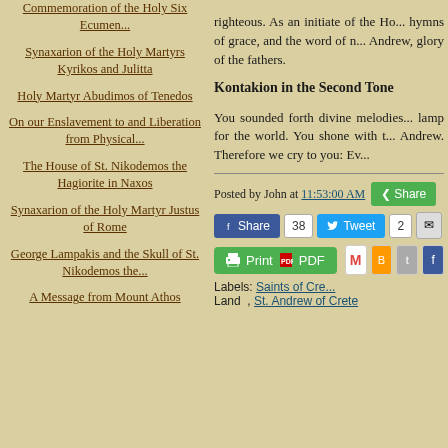Commemoration of the Holy Six Ecumen...
Synaxarion of the Holy Martyrs Kyrikos and Julitta
Holy Martyr Abudimos of Tenedos
On our Enslavement to and Liberation from Physical...
The House of St. Nikodemos the Hagiorite in Naxos
Synaxarion of the Holy Martyr Justus of Rome
George Lampakis and the Skull of St. Nikodemos the...
A Message from Mount Athos
righteous. As an initiate of the Ho... hymns of grace, and the word of n... Andrew, glory of the fathers.
Kontakion in the Second Tone
You sounded forth divine melodies... lamp for the world. You shone with t... Andrew. Therefore we cry to you: Ev...
Posted by John at 11:53:00 AM
Labels: Saints of Cre... Land , St. Andrew of Crete